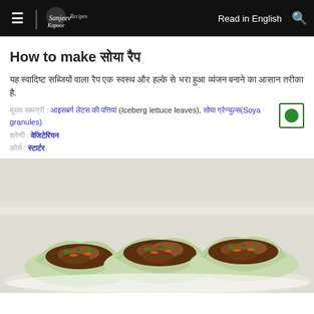≡ | Sanjeev Kapoor Recipes   Read in English   🔍
How to make सोया रैप
यह स्वादिष्ट सब्जियों वाला रैप एक स्वस्थ और हल्के से भरा हुआ व्यंजन बनाने का आसान तरीका है.
मुख्य सामग्री : आइसबर्ग लेटुस की पत्तियां (Iceberg lettuce leaves), सोया ग्रेन्युल्स(Soya granules)
श्रेणी : वेजिटेरियन
कोर्स : स्टार्टर
[Figure (photo): Food photo showing lettuce wrap cups filled with soya granules mixture on a white plate]